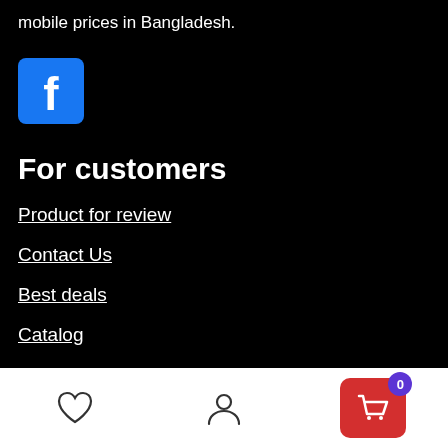mobile prices in Bangladesh.
[Figure (logo): Facebook icon — white 'f' logo on blue square background]
For customers
Product for review
Contact Us
Best deals
Catalog
For vendors
Testimonial
Bottom navigation bar with heart icon, user icon, and cart button showing 0 items